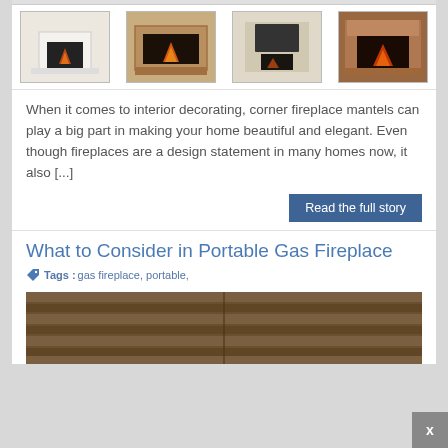[Figure (photo): Row of four fireplace thumbnail images: white corner fireplace, stone mantel with fire, built-in fireplace, rustic stone fireplace]
When it comes to interior decorating, corner fireplace mantels can play a big part in making your home beautiful and elegant. Even though fireplaces are a design statement in many homes now, it also [...]
Read the full story
What to Consider in Portable Gas Fireplace
Tags :gas fireplace, portable,
[Figure (photo): Partial image of dark wooden horizontal slat panel or fireplace surround]